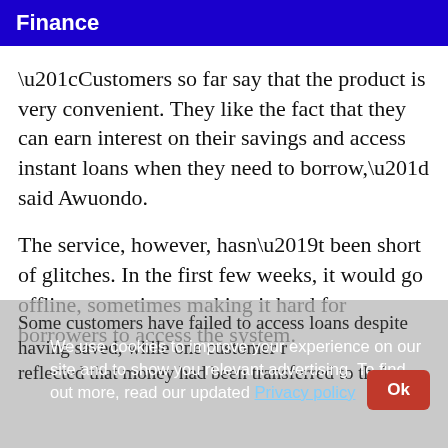Finance
“Customers so far say that the product is very convenient. They like the fact that they can earn interest on their savings and access instant loans when they need to borrow,” said Awuondo.
The service, however, hasn’t been short of glitches. In the first few weeks, it would go offline, sometimes making it hard for borrowers to access the system.
Some customers have failed to access loans despite having saved, while one customer r… reflected that money had been transferred to their …
We use cookies to improve your experience on our site and to show you relevant advertising. To find out more, read our updated Privacy policy